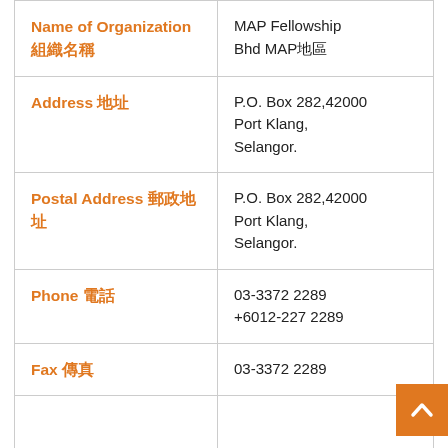| Field | Value |
| --- | --- |
| Name of Organization 組織名稱 | MAP Fellowship Bhd MAP地區 |
| Address 地址 | P.O. Box 282,42000
Port Klang,
Selangor. |
| Postal Address 郵政地址 | P.O. Box 282,42000
Port Klang,
Selangor. |
| Phone 電話 | 03-3372 2289
+6012-227 2289 |
| Fax 傳真 | 03-3372 2289 |